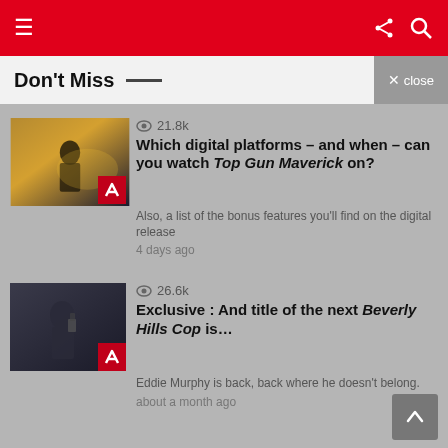Navigation bar with hamburger menu, share and search icons on red background
Don't Miss
[Figure (photo): Movie still from Top Gun: Maverick showing pilot in golden light]
21.8k views
Which digital platforms – and when – can you watch Top Gun Maverick on?
Also, a list of the bonus features you'll find on the digital release
4 days ago
[Figure (photo): Movie still from Beverly Hills Cop showing Eddie Murphy on phone]
26.6k views
Exclusive : And title of the next Beverly Hills Cop is...
Eddie Murphy is back, back where he doesn't belong.
about a month ago